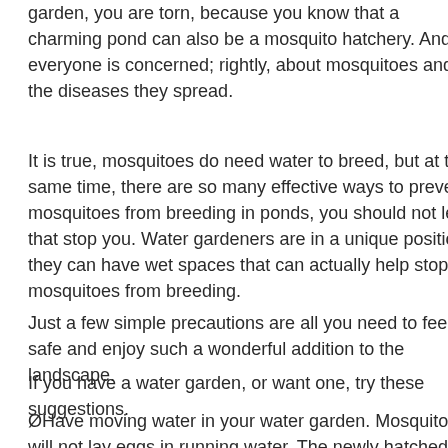garden, you are torn, because you know that a charming pond can also be a mosquito hatchery. And, everyone is concerned; rightly, about mosquitoes and the diseases they spread.
It is true, mosquitoes do need water to breed, but at the same time, there are so many effective ways to prevent mosquitoes from breeding in ponds, you should not let that stop you. Water gardeners are in a unique position; they can have wet spaces that can actually help stop mosquitoes from breeding.
Just a few simple precautions are all you need to feel safe and enjoy such a wonderful addition to the landscape.
If you have a water garden, or want one, try these suggestions.
Ø Have moving water in your water garden. Mosquitoes will not lay eggs in running water. The newly hatched